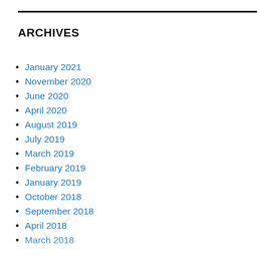ARCHIVES
January 2021
November 2020
June 2020
April 2020
August 2019
July 2019
March 2019
February 2019
January 2019
October 2018
September 2018
April 2018
March 2018